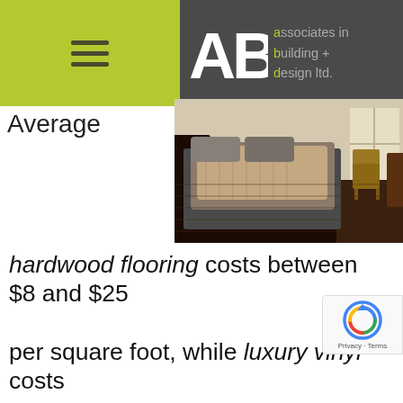[Figure (logo): ABD Associates in Building + Design Ltd. logo with green and dark grey header bar and hamburger menu icon]
Average
[Figure (photo): Bedroom interior with dark hardwood flooring, a large bed with grey and beige bedding, and a wooden chair near a window]
hardwood flooring costs between $8 and $25 per square foot, while luxury vinyl costs between $2 and $5 per square foot. Pri for laminate generally run from $1 to $5 per